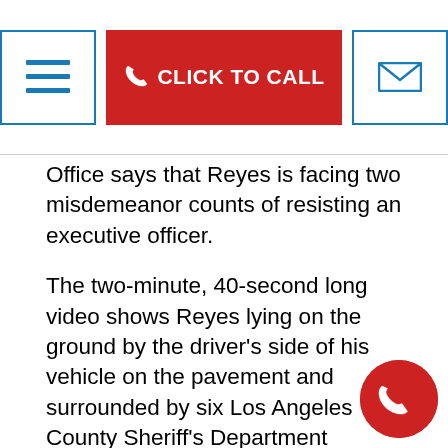[Figure (screenshot): Navigation bar with hamburger menu button (outlined in blue), red CLICK TO CALL button, and email envelope button (outlined in blue)]
Office says that Reyes is facing two misdemeanor counts of resisting an executive officer.
The two-minute, 40-second long video shows Reyes lying on the ground by the driver's side of his vehicle on the pavement and surrounded by six Los Angeles County Sheriff's Department deputies. One deputy can be seen kneeling on Reyes and punching him repeatedly.
The video ends with Reyes being taken aw... three of the six deputies are bound at his fe... Reyes' clothing was torn and his trousers pulled